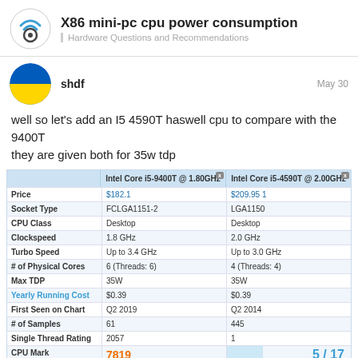X86 mini-pc cpu power consumption | Hardware Questions and Recommendations
shdf   May 30
well so let's add an I5 4590T haswell cpu to compare with the 9400T
they are given both for 35w tdp
|  | Intel Core i5-9400T @ 1.80GHz | Intel Core i5-4590T @ 2.00GHz |
| --- | --- | --- |
| Price | $182.1 | $209.95 1 |
| Socket Type | FCLGA1151-2 | LGA1150 |
| CPU Class | Desktop | Desktop |
| Clockspeed | 1.8 GHz | 2.0 GHz |
| Turbo Speed | Up to 3.4 GHz | Up to 3.0 GHz |
| # of Physical Cores | 6 (Threads: 6) | 4 (Threads: 4) |
| Max TDP | 35W | 35W |
| Yearly Running Cost | $0.39 | $0.39 |
| First Seen on Chart | Q2 2019 | Q2 2014 |
| # of Samples | 61 | 445 |
| Single Thread Rating | 2057 | 1 |
| CPU Mark | 7819 | 5 / 17 |